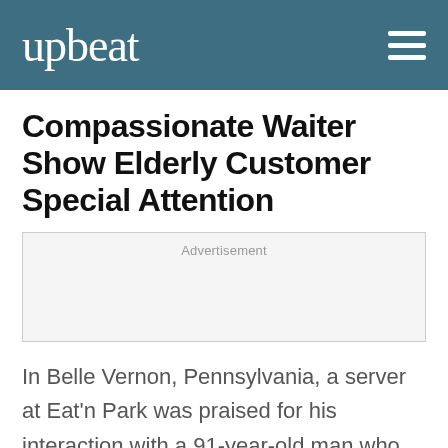upbeat
Compassionate Waiter Show Elderly Customer Special Attention
[Figure (other): Advertisement placeholder box]
In Belle Vernon, Pennsylvania, a server at Eat'n Park was praised for his interaction with a 91-year-old man who was dining alone.